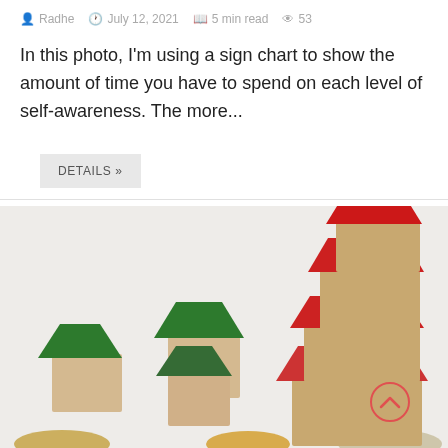Radhe · July 12, 2021 · 5 min read · 53
In this photo, I'm using a sign chart to show the amount of time you have to spend on each level of self-awareness. The more...
DETAILS »
[Figure (photo): Miniature wooden toy houses with green and red roofs arranged in ascending stacks, alongside coins, photographed on a light background. A circular scroll-up button is visible in the lower right corner.]